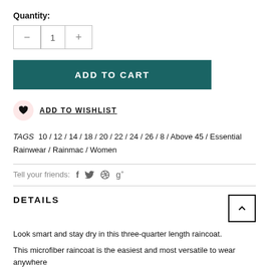Quantity:
[Figure (other): Quantity selector with minus button, value 1, and plus button]
ADD TO CART
ADD TO WISHLIST
TAGS 10 / 12 / 14 / 18 / 20 / 22 / 24 / 26 / 8 / Above 45 / Essential Rainwear / Rainmac / Women
Tell your friends:
DETAILS
Look smart and stay dry in this three-quarter length raincoat.
This microfiber raincoat is the easiest and most versatile to wear anywhere